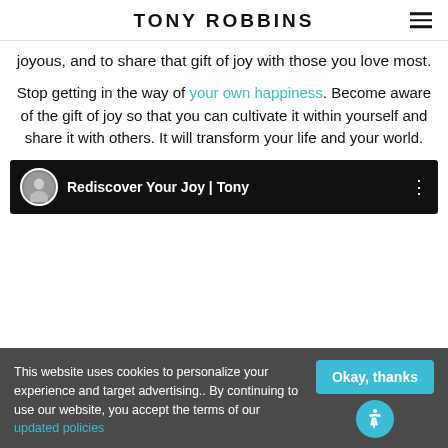TONY ROBBINS
joyous, and to share that gift of joy with those you love most.
Stop getting in the way of your own happiness. Become aware of the gift of joy so that you can cultivate it within yourself and share it with others. It will transform your life and your world.
[Figure (screenshot): Video thumbnail with circular avatar of Tony Robbins and text 'Rediscover Your Joy | Tony...' on dark background]
This website uses cookies to personalize your experience and target advertising.. By continuing to use our website, you accept the terms of our updated policies